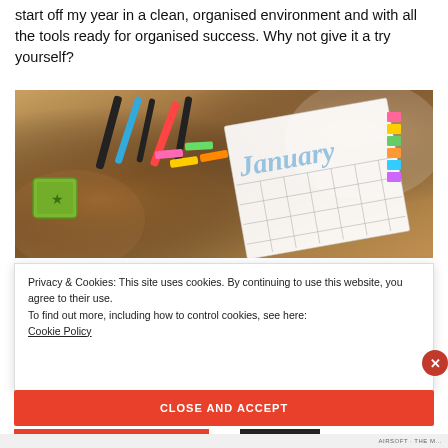start off my year in a clean, organised environment and with all the tools ready for organised success. Why not give it a try yourself?
[Figure (photo): Overhead photo of a January planner/calendar with colorful sticky tabs, pens and markers, and a green cup on a warm brown fabric background.]
Privacy & Cookies: This site uses cookies. By continuing to use this website, you agree to their use.
To find out more, including how to control cookies, see here:
Cookie Policy
CLOSE AND ACCEPT